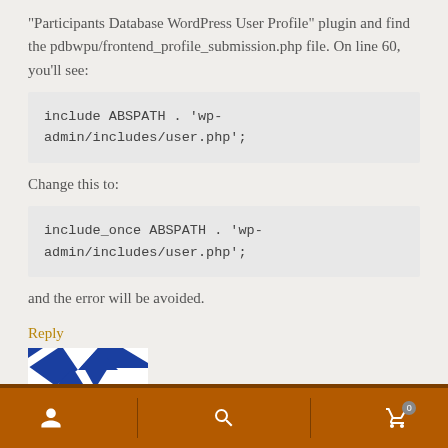“Participants Database WordPress User Profile” plugin and find the pdbwpu/frontend_profile_submission.php file. On line 60, you’ll see:
include ABSPATH . 'wp-admin/includes/user.php';
Change this to:
include_once ABSPATH . 'wp-admin/includes/user.php';
and the error will be avoided.
Reply
[Figure (illustration): Partial avatar image with blue and white geometric/triangular pattern]